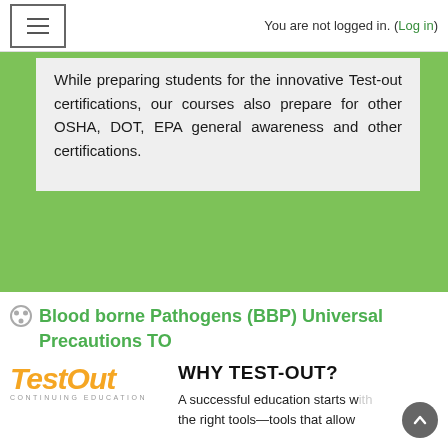You are not logged in. (Log in)
While preparing students for the innovative Test-out certifications, our courses also prepare for other OSHA, DOT, EPA general awareness and other certifications.
Blood borne Pathogens (BBP) Universal Precautions TO
[Figure (logo): TestOut Continuing Education logo in orange italic text]
WHY TEST-OUT?
A successful education starts with the right tools—tools that allow